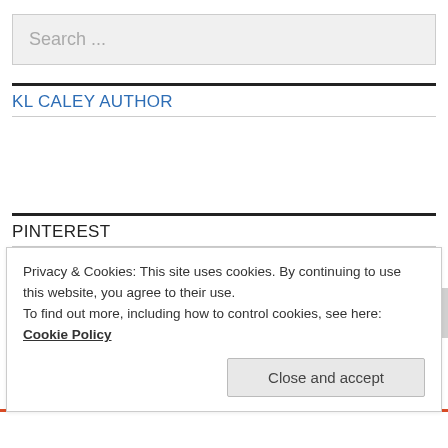Search ...
KL CALEY AUTHOR
PINTEREST
KL Caley
Privacy & Cookies: This site uses cookies. By continuing to use this website, you agree to their use.
To find out more, including how to control cookies, see here:
Cookie Policy
Close and accept